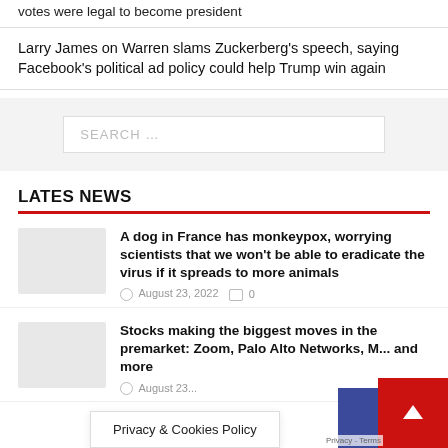votes were legal to become president
Larry James on Warren slams Zuckerberg's speech, saying Facebook's political ad policy could help Trump win again
[Figure (screenshot): Search box with placeholder text SEARCH ...]
LATES NEWS
A dog in France has monkeypox, worrying scientists that we won't be able to eradicate the virus if it spreads to more animals
August 23, 2022  0
Stocks making the biggest moves in the premarket: Zoom, Palo Alto Networks, M... and more
August 23...
Privacy & Cookies Policy